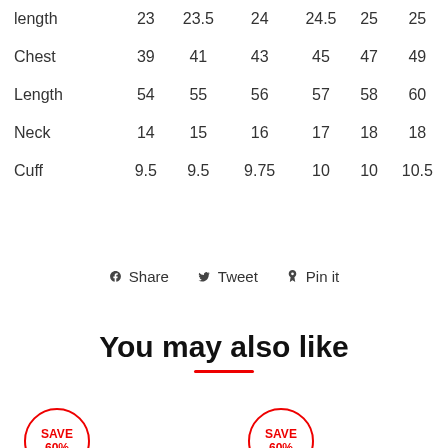|  |  |  |  |  |  |  |
| --- | --- | --- | --- | --- | --- | --- |
| length | 23 | 23.5 | 24 | 24.5 | 25 | 25 |
| Chest | 39 | 41 | 43 | 45 | 47 | 49 |
| Length | 54 | 55 | 56 | 57 | 58 | 60 |
| Neck | 14 | 15 | 16 | 17 | 18 | 18 |
| Cuff | 9.5 | 9.5 | 9.75 | 10 | 10 | 10.5 |
Share   Tweet   Pin it
You may also like
[Figure (other): Two product thumbnails with SAVE 60% badge overlays]